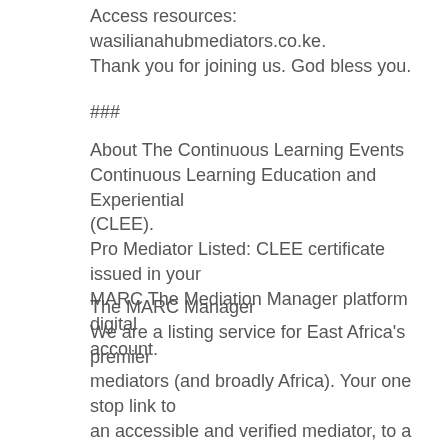Access resources: wasilianahubmediators.co.ke.
Thank you for joining us. God bless you.
###
About The Continuous Learning Events
Continuous Learning Education and Experiential (CLEE).
Pro Mediator Listed: CLEE certificate issued in your MARC The Mediation Manager platform digital account.
The MARC Manager
We are a listing service for East Africa's premier mediators (and broadly Africa). Your one stop link to an accessible and verified mediator, to a mediation agency and to the mediation center nearest to you. Connecting communities, businesses, families and nations in dispute with accessible and verified mediators.
Pro Mediators: The most up-to-date annual subscription self-listing service for the practitioners